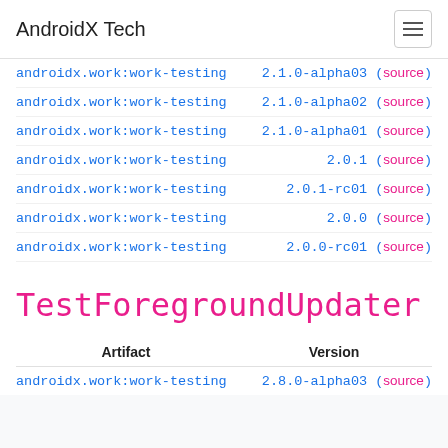AndroidX Tech
androidx.work:work-testing 2.1.0-alpha03 (source)
androidx.work:work-testing 2.1.0-alpha02 (source)
androidx.work:work-testing 2.1.0-alpha01 (source)
androidx.work:work-testing 2.0.1 (source)
androidx.work:work-testing 2.0.1-rc01 (source)
androidx.work:work-testing 2.0.0 (source)
androidx.work:work-testing 2.0.0-rc01 (source)
TestForegroundUpdater
| Artifact | Version |
| --- | --- |
| androidx.work:work-testing | 2.8.0-alpha03 (source) |
androidx.work:work-testing 2.8.0-alpha03 (source)